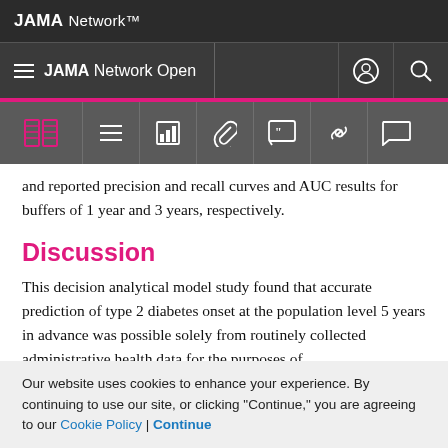JAMA Network
JAMA Network Open
and reported precision and recall curves and AUC results for buffers of 1 year and 3 years, respectively.
Discussion
This decision analytical model study found that accurate prediction of type 2 diabetes onset at the population level 5 years in advance was possible solely from routinely collected administrative health data for the purposes of
Our website uses cookies to enhance your experience. By continuing to use our site, or clicking "Continue," you are agreeing to our Cookie Policy | Continue